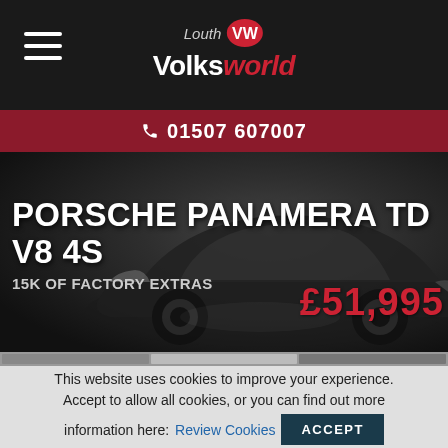Louth VolksWorld
01507 607007
[Figure (photo): Dark/grey background hero image showing a Porsche Panamera TD V8 4S in a moody, dark studio setting]
PORSCHE PANAMERA TD V8 4S
15K OF FACTORY EXTRAS
£51,995
This website uses cookies to improve your experience. Accept to allow all cookies, or you can find out more information here: Review Cookies ACCEPT